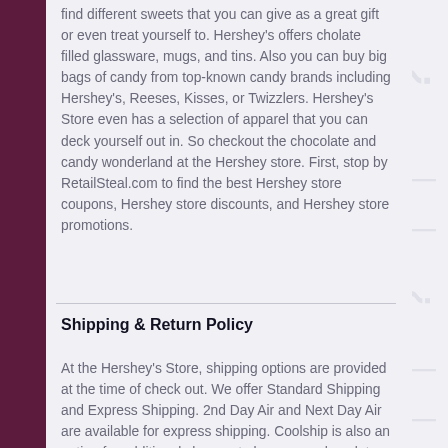find different sweets that you can give as a great gift or even treat yourself to. Hershey's offers cholate filled glassware, mugs, and tins. Also you can buy big bags of candy from top-known candy brands including Hershey's, Reeses, Kisses, or Twizzlers. Hershey's Store even has a selection of apparel that you can deck yourself out in. So checkout the chocolate and candy wonderland at the Hershey store. First, stop by RetailSteal.com to find the best Hershey store coupons, Hershey store discounts, and Hershey store promotions.
Shipping & Return Policy
At the Hershey's Store, shipping options are provided at the time of check out. We offer Standard Shipping and Express Shipping. 2nd Day Air and Next Day Air are available for express shipping. Coolship is also an option for additional charges to keep your chocolate cooled while it is shipped. See website for full details, exclusions may apply.